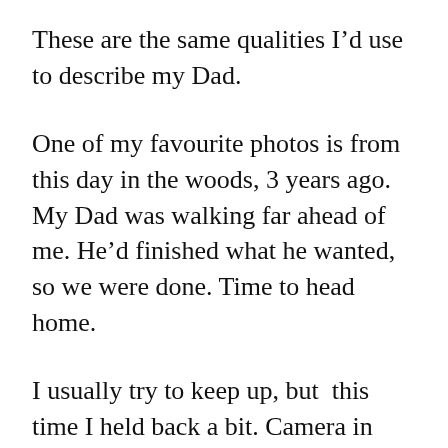These are the same qualities I’d use to describe my Dad.
One of my favourite photos is from this day in the woods, 3 years ago. My Dad was walking far ahead of me. He’d finished what he wanted, so we were done. Time to head home.
I usually try to keep up, but  this time I held back a bit. Camera in hand, I called out to my Dad. He didn’t hear me, so I called again, “DAD!”
He stopped and slowly turned around. Seeing